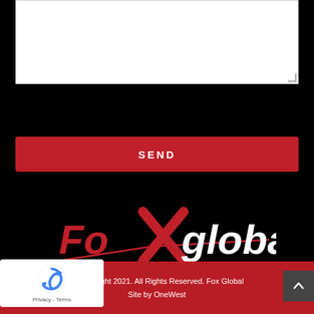[Figure (screenshot): White textarea input box with resize handle in bottom-right corner]
[Figure (screenshot): Red SEND button with white bold uppercase text]
[Figure (logo): Fox Global logo — red and white stylized text on black background with diagonal slash]
[Figure (screenshot): reCAPTCHA widget with blue circular arrows icon and Privacy - Terms text]
© Copyright 2021. All Rights Reserved. Fox Global
Site by OneWest
[Figure (screenshot): Dark grey scroll-to-top button with upward arrow chevron]